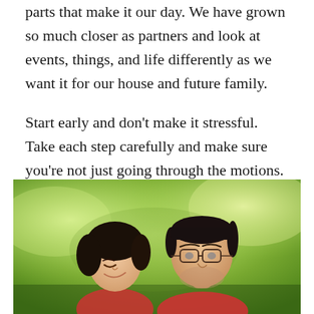parts that make it our day. We have grown so much closer as partners and look at events, things, and life differently as we want it for our house and future family.
Start early and don't make it stressful. Take each step carefully and make sure you're not just going through the motions. It's about making your better half smile so plan and complete all the tasks together because it makes the events and process more genuine.
[Figure (photo): A couple - a woman with dark hair on the left and a man wearing glasses on the right - photographed outdoors with a green blurred background, both looking down and smiling.]